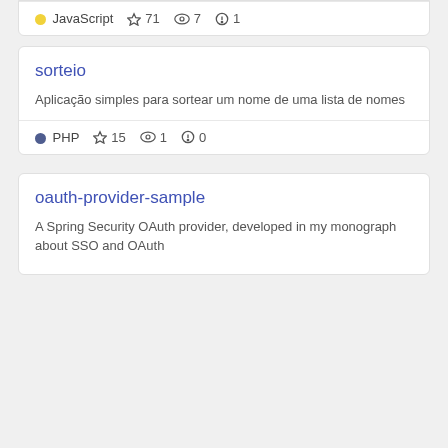JavaScript ★71 👁7 ⚠1
sorteio
Aplicação simples para sortear um nome de uma lista de nomes
PHP ★15 👁1 ⚠0
oauth-provider-sample
A Spring Security OAuth provider, developed in my monograph about SSO and OAuth